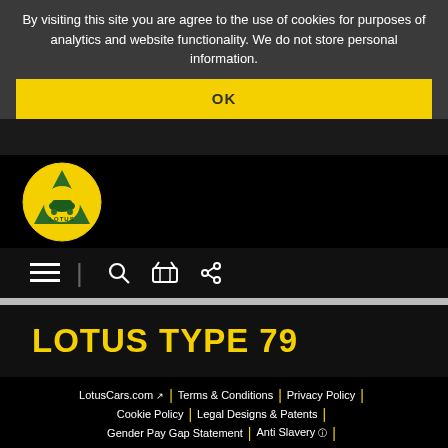By visiting this site you are agree to the use of cookies for purposes of analytics and website functionality. We do not store personal information.
OK
[Figure (logo): Lotus Cars circular yellow logo with green triangle and car silhouette on black background]
[Figure (other): Navigation bar with hamburger menu, vertical divider, search icon, shopping basket icon, and share icon]
LOTUS TYPE 79
LotusCars.com | Terms & Conditions | Privacy Policy | Cookie Policy | Legal Designs & Patents | Gender Pay Gap Statement | Anti Slavery | © 2022 Lotus Cars